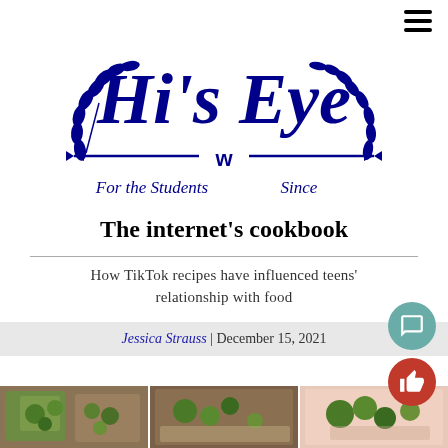[Figure (logo): Hi's Eye newspaper logo with laurel wreaths, arrows, and 'W' emblem, blue color, with text 'For the Students' and 'Since']
The internet's cookbook
How TikTok recipes have influenced teens' relationship with food
Jessica Strauss | December 15, 2021
[Figure (photo): Strip of three food photos showing green vegetables and broccoli dishes]